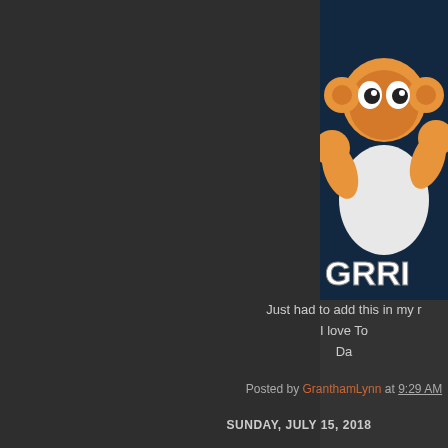[Figure (illustration): Cartoon character on dark blue background with 'GRRR' text, partially visible on the right side of the page]
Just had to add this in my r
I love To
Da
Posted by GranthamLynn at 9:29 AM
SUNDAY, JULY 15, 2018